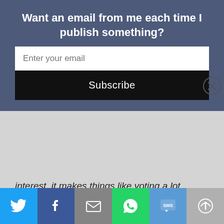Want an email from me each time I publish something?
Enter your email
Subscribe
interest, it makes things like voting a lot easier.
If we play our cards right, maybe do a little of the old “appeal to their racist, misogynist, and homophobic tendencies” shtick, and smear Bob as an out-of-touch liberal who has two French Bulldogs named “Nancy” and “Pelosi,” we should be able to win this election. And we’ll do it without convincing a single person that we actually have
[Figure (infographic): Social sharing footer bar with icons: Twitter (blue), Facebook (dark blue), Email (gray), WhatsApp (green), SMS (light blue), and another icon (gray)]